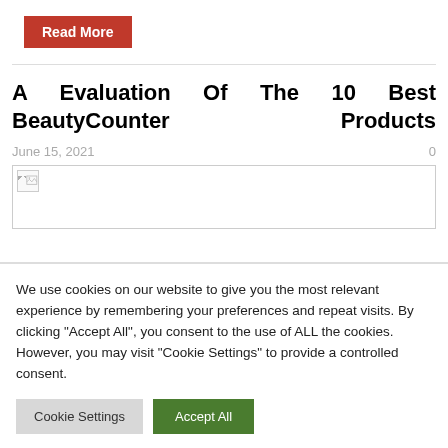[Figure (other): Red 'Read More' button]
A Evaluation Of The 10 Best BeautyCounter Products
June 15, 2021   0
[Figure (other): Broken image placeholder]
We use cookies on our website to give you the most relevant experience by remembering your preferences and repeat visits. By clicking "Accept All", you consent to the use of ALL the cookies. However, you may visit "Cookie Settings" to provide a controlled consent.
Cookie Settings   Accept All